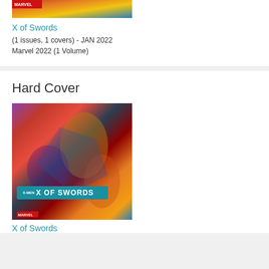[Figure (illustration): Partial comic book cover for X of Swords with Marvel logo, colorful action scene at top of page]
X of Swords
(1 issues, 1 covers) - JAN 2022
Marvel 2022 (1 Volume)
Hard Cover
[Figure (illustration): Comic book cover for X-Men: X of Swords hardcover, featuring multiple X-Men characters in battle, with X of Swords logo banner]
X of Swords